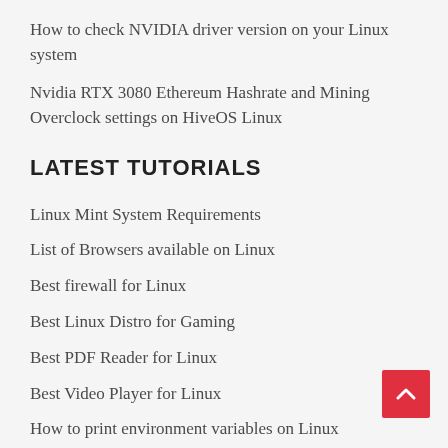How to check NVIDIA driver version on your Linux system
Nvidia RTX 3080 Ethereum Hashrate and Mining Overclock settings on HiveOS Linux
LATEST TUTORIALS
Linux Mint System Requirements
List of Browsers available on Linux
Best firewall for Linux
Best Linux Distro for Gaming
Best PDF Reader for Linux
Best Video Player for Linux
How to print environment variables on Linux